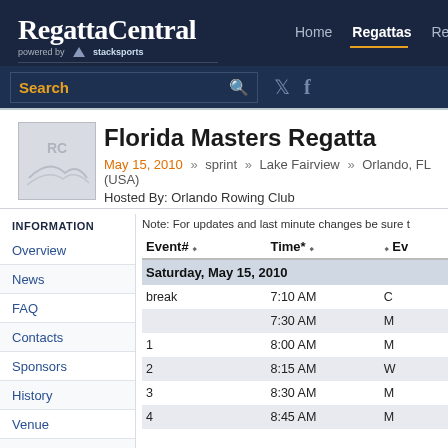RegattaCentral powered by stacksports | Home | Regattas | Res...
[Figure (screenshot): RegattaCentral logo — white bold text on dark navy background, with 'powered by stacksports' subtitle]
Search
[Figure (illustration): Regatta logo image — grey RC initials with rowing imagery]
Florida Masters Regatta
May 15, 2010 » sprint » Lake Fairview » Orlando, FL (USA)
Hosted By: Orlando Rowing Club
INFORMATION
Overview
News
FAQ
Contacts
Sponsors
History
Venue
Volunteer
Note: For updates and last minute changes be sure t...
| Event# | Time* | Ev... |
| --- | --- | --- |
| Saturday, May 15, 2010 |  |  |
| break | 7:10 AM | C... |
|  | 7:30 AM | M... |
| 1 | 8:00 AM | M... |
| 2 | 8:15 AM | W... |
| 3 | 8:30 AM | M... |
| 4 | 8:45 AM | M... |